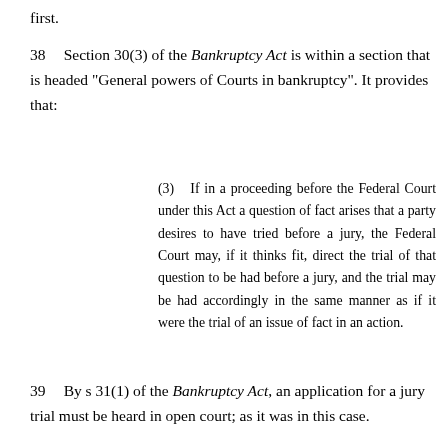first.
38    Section 30(3) of the Bankruptcy Act is within a section that is headed "General powers of Courts in bankruptcy". It provides that:
(3)    If in a proceeding before the Federal Court under this Act a question of fact arises that a party desires to have tried before a jury, the Federal Court may, if it thinks fit, direct the trial of that question to be had before a jury, and the trial may be had accordingly in the same manner as if it were the trial of an issue of fact in an action.
39    By s 31(1) of the Bankruptcy Act, an application for a jury trial must be heard in open court; as it was in this case.